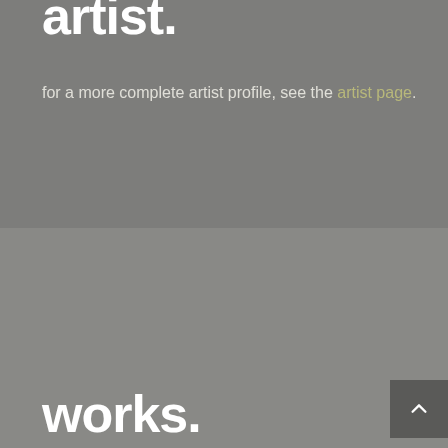artist.
for a more complete artist profile, see the artist page.
works.